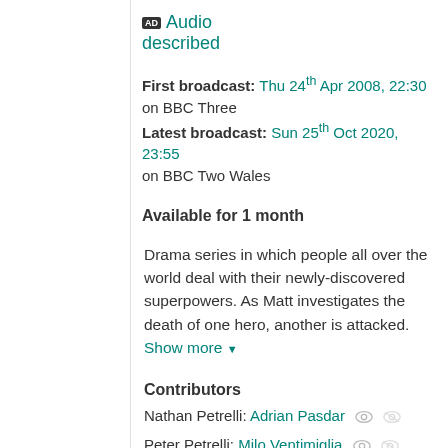AD Audio described
First broadcast: Thu 24th Apr 2008, 22:30 on BBC Three
Latest broadcast: Sun 25th Oct 2020, 23:55 on BBC Two Wales
Available for 1 month
Drama series in which people all over the world deal with their newly-discovered superpowers. As Matt investigates the death of one hero, another is attacked. Show more
Contributors
Nathan Petrelli: Adrian Pasdar
Peter Petrelli: Milo Ventimiglia